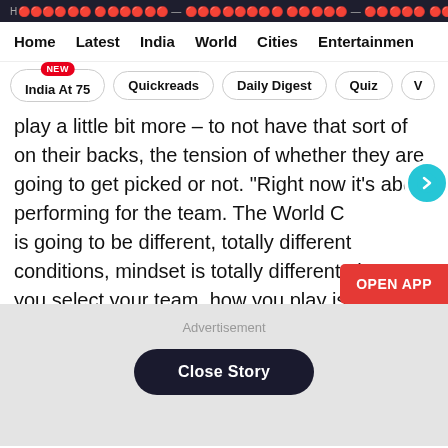Hindustan Times - Breaking news... World...
Home  Latest  India  World  Cities  Entertainment
India At 75 [NEW]  Quickreads  Daily Digest  Quiz  V
play a little bit more – to not have that sort of on their backs, the tension of whether they are going to get picked or not. "Right now it's about performing for the team. The World C is going to be different, totally different conditions, mindset is totally different, the way you select your team, how you play is totally different. You want to play well, and you want to have confidence but World Cup is whole different atmosphere for us," he said.
Advertisement
Close Story